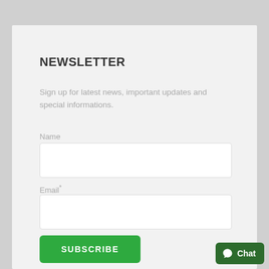NEWSLETTER
Sign up for latest news, important updates and special informations.
Name
Email*
SUBSCRIBE
Chat